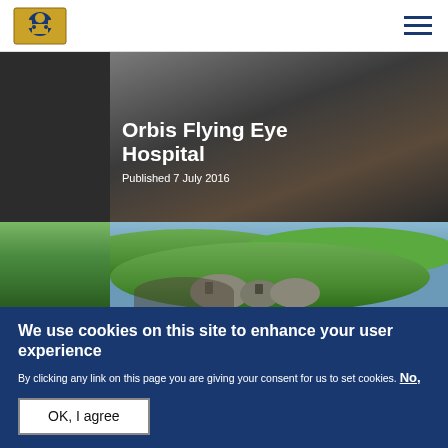Orbis Flying Eye Hospital
Published 7 July 2016
[Figure (photo): Aerial photograph showing green forested hills with people visible in the lower portion]
We use cookies on this site to enhance your user experience
By clicking any link on this page you are giving your consent for us to set cookies. No, give me more info
OK, I agree